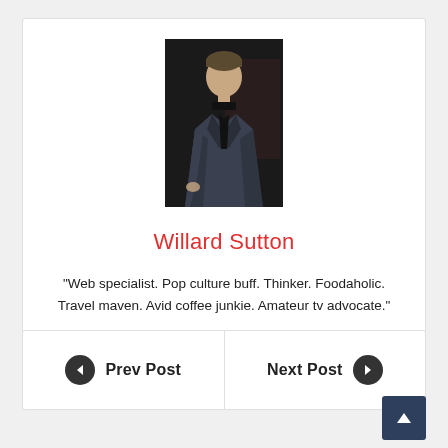[Figure (photo): Portrait photo of a man in a dark grey suit against a dark background]
Willard Sutton
“Web specialist. Pop culture buff. Thinker. Foodaholic. Travel maven. Avid coffee junkie. Amateur tv advocate.”
Prev Post
Next Post